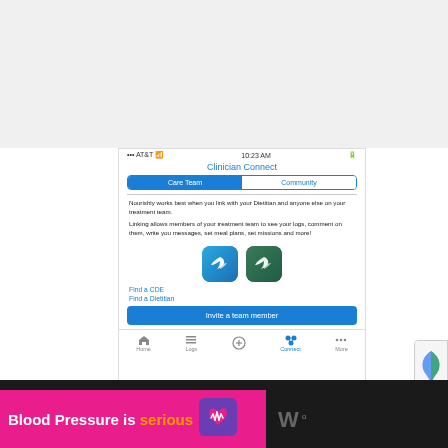[Figure (screenshot): Mobile app screenshot of Clinician Connect screen showing Care Team and Community tabs, descriptive onboarding text about linking with a Dietitian, two app icons (blue and teal bird logos), Find a CDE and Find a Dietitian links, an Invite a team member button, and bottom navigation bar with Home, Logs, Connect, and More items.]
Blood Pressure is serious
[Figure (logo): Purple heart icon with sound wave / pulse lines]
[Figure (logo): Dark background with stylized W logo]